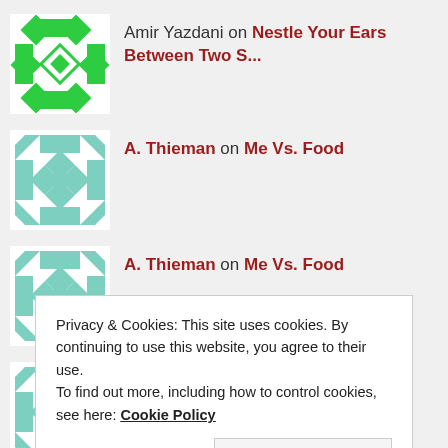Amir Yazdani on Nestle Your Ears Between Two S...
A. Thieman on Me Vs. Food
A. Thieman on Me Vs. Food
Jared on Inbloguration
Privacy & Cookies: This site uses cookies. By continuing to use this website, you agree to their use.
To find out more, including how to control cookies, see here: Cookie Policy
Close and accept